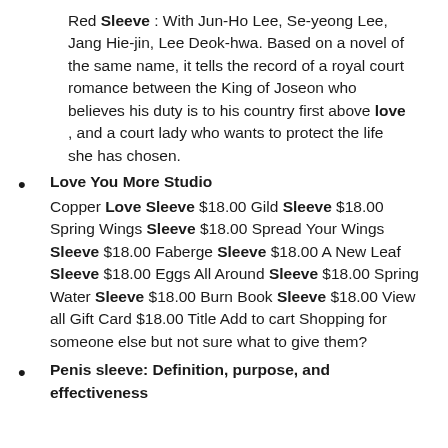Red Sleeve : With Jun-Ho Lee, Se-yeong Lee, Jang Hie-jin, Lee Deok-hwa. Based on a novel of the same name, it tells the record of a royal court romance between the King of Joseon who believes his duty is to his country first above love , and a court lady who wants to protect the life she has chosen.
Love You More Studio
Copper Love Sleeve $18.00 Gild Sleeve $18.00 Spring Wings Sleeve $18.00 Spread Your Wings Sleeve $18.00 Faberge Sleeve $18.00 A New Leaf Sleeve $18.00 Eggs All Around Sleeve $18.00 Spring Water Sleeve $18.00 Burn Book Sleeve $18.00 View all Gift Card $18.00 Title Add to cart Shopping for someone else but not sure what to give them?
Penis sleeve: Definition, purpose, and effectiveness